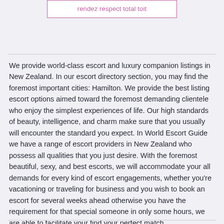[Figure (other): A bordered box with purple/pink text reading 'rendez respect total toit']
We provide world-class escort and luxury companion listings in New Zealand. In our escort directory section, you may find the foremost important cities: Hamilton. We provide the best listing escort options aimed toward the foremost demanding clientele who enjoy the simplest experiences of life. Our high standards of beauty, intelligence, and charm make sure that you usually will encounter the standard you expect. In World Escort Guide we have a range of escort providers in New Zealand who possess all qualities that you just desire. With the foremost beautiful, sexy, and best escorts, we will accommodate your all demands for every kind of escort engagements, whether you're vacationing or traveling for business and you wish to book an escort for several weeks ahead otherwise you have the requirement for that special someone in only some hours, we are able to facilitate your find your perfect match.